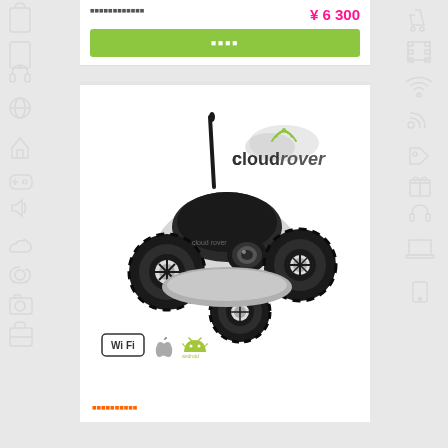¥ 6 300
■■■■
[Figure (photo): Cloud Rover WiFi-controlled robot tank with camera, four large wheels and antenna, shown with WiFi, Apple and Android compatibility logos]
■■■■■■■■■■